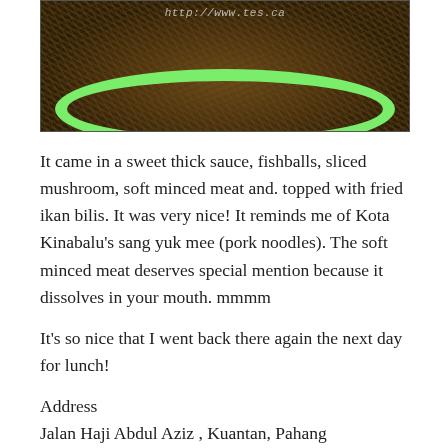[Figure (photo): A bowl of dark noodles served in a green bowl, with a watermark URL 'http://www.tes.ca' visible at the top]
It came in a sweet thick sauce, fishballs, sliced mushroom, soft minced meat and. topped with fried ikan bilis. It was very nice! It reminds me of Kota Kinabalu's sang yuk mee (pork noodles). The soft minced meat deserves special mention because it dissolves in your mouth. mmmm
It's so nice that I went back there again the next day for lunch!
Address
Jalan Haji Abdul Aziz , Kuantan, Pahang
(Opposite AmBank and Public Bank and same row with Hai Peng kopitiam).
Business hours: